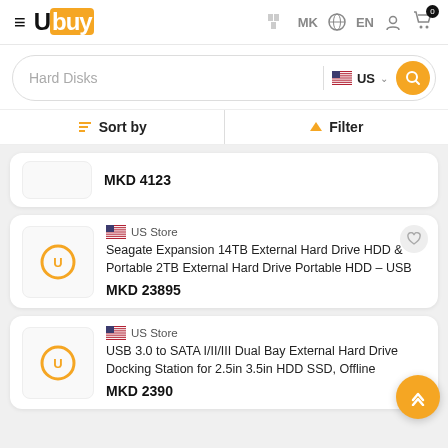Ubuy MK EN
Hard Disks US
Sort by   Filter
MKD 4123
US Store
Seagate Expansion 14TB External Hard Drive HDD & Portable 2TB External Hard Drive Portable HDD – USB
MKD 23895
US Store
USB 3.0 to SATA I/II/III Dual Bay External Hard Drive Docking Station for 2.5in 3.5in HDD SSD, Offline
MKD 2390